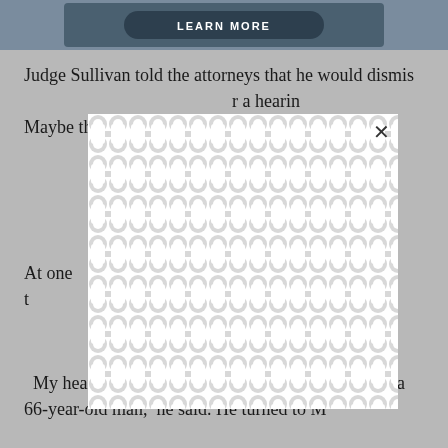[Figure (screenshot): Banner image with 'LEARN MORE' button on dark teal background]
Judge Sullivan told the attorneys that he would dismiss [obscured] r a hearing [obscured] Maybe they w[obscured] vice, maybe[obscured]
[Figure (other): Modal overlay with repeating curved pattern (obstructing text), with X close button]
At one [obscured] Sulliva[obscured] arms as he t[obscured] miscar[obscured]
My heart is beating twice as fast as it should be in a 66-year-old man,  he said. He turned to M[obscured]